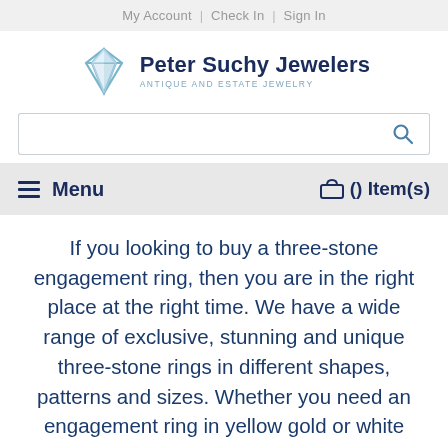My Account | Check In | Sign In
[Figure (logo): Peter Suchy Jewelers logo with diamond icon and text 'ANTIQUE AND ESTATE JEWELRY']
≡ Menu   🛒 () Item(s)
If you looking to buy a three-stone engagement ring, then you are in the right place at the right time. We have a wide range of exclusive, stunning and unique three-stone rings in different shapes, patterns and sizes. Whether you need an engagement ring in yellow gold or white gold, we have it all.